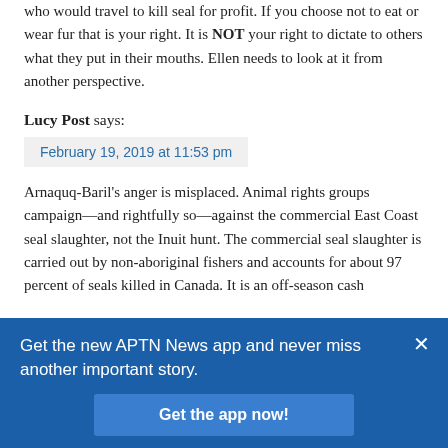who would travel to kill seal for profit. If you choose not to eat or wear fur that is your right. It is NOT your right to dictate to others what they put in their mouths. Ellen needs to look at it from another perspective.
Lucy Post says:
February 19, 2019 at 11:53 pm
Arnaquq-Baril's anger is misplaced. Animal rights groups campaign—and rightfully so—against the commercial East Coast seal slaughter, not the Inuit hunt. The commercial seal slaughter is carried out by non-aboriginal fishers and accounts for about 97 percent of seals killed in Canada. It is an off-season cash
Get the new APTN News app and never miss another important story.
Get the app now!